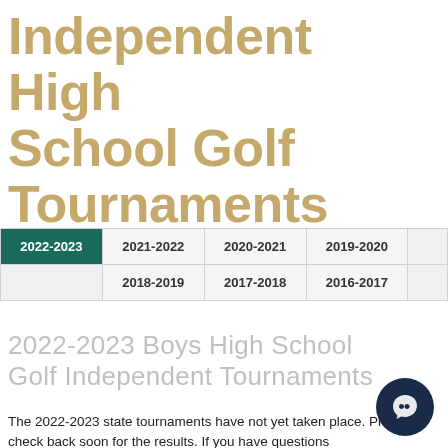Independent High School Golf Tournaments
| 2022-2023 | 2021-2022 | 2020-2021 | 2019-2020 |  | 2018-2019 | 2017-2018 | 2016-2017 |
| --- | --- | --- | --- | --- | --- | --- | --- |
2022-2023 Boys High School Golf Independent Tournaments
The 2022-2023 state tournaments have not yet taken place. Please check back soon for the results. If you have questions